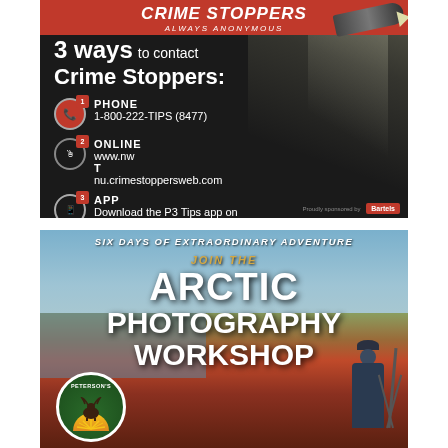[Figure (infographic): Crime Stoppers advertisement on dark background. Red header reads 'CRIME STOPPERS ALWAYS ANONYMOUS'. Text: '3 ways to contact Crime Stoppers:'. Three items: 1 PHONE 1-800-222-TIPS (8477), 2 ONLINE www.nwtnu.crimestoppersweb.com, 3 APP Download the P3 Tips app on Google Play or Apple Store. Flashlight spotlight graphic. Proudly sponsored by Bartels.]
[Figure (infographic): Arctic Photography Workshop advertisement. Tundra landscape with photographer on tripod. Text: 'SIX DAYS OF EXTRAORDINARY ADVENTURE', 'JOIN THE', 'ARCTIC PHOTOGRAPHY WORKSHOP'. Peterson's logo at bottom left.]